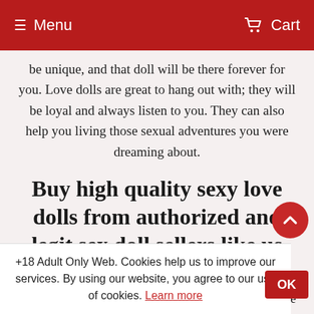≡ Menu    🛒 Cart
be unique, and that doll will be there forever for you. Love dolls are great to hang out with; they will be loyal and always listen to you. They can also help you living those sexual adventures you were dreaming about.
Buy high quality sexy love dolls from authorized and legit sex doll sellers like us
Sexy Real Sex Dolls is the top seller of real sex doll, adult love doll, lifelike silicone doll and TPE sexy love doll. We are the #1 vendor in USA and worldwide as we care about our customers and we provide the best customer service, information and advice
+18 Adult Only Web. Cookies help us to improve our services. By using our website, you agree to our use of cookies. Learn more